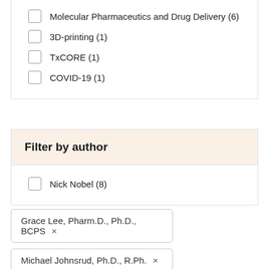Molecular Pharmaceutics and Drug Delivery (6)
3D-printing (1)
TxCORE (1)
COVID-19 (1)
Filter by author
Nick Nobel (8)
Grace Lee, Pharm.D., Ph.D., BCPS ×
Michael Johnsrud, Ph.D., R.Ph. ×